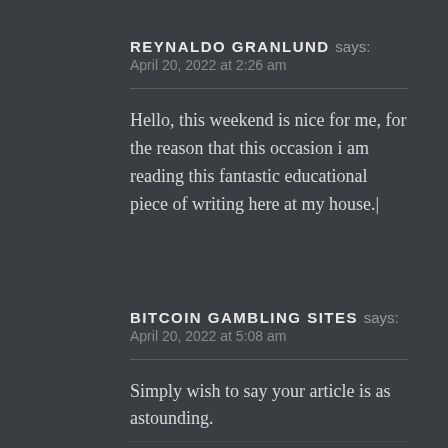REYNALDO GRANLUND says:
April 20, 2022 at 2:26 am
Hello, this weekend is nice for me, for the reason that this occasion i am reading this fantastic educational piece of writing here at my house.|
BITCOIN GAMBLING SITES says:
April 20, 2022 at 5:08 am
Simply wish to say your article is as astounding.